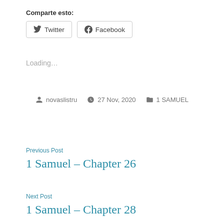Comparte esto:
Twitter  Facebook
Loading…
novaslistru  27 Nov, 2020  1 SAMUEL
Previous Post
1 Samuel – Chapter 26
Next Post
1 Samuel – Chapter 28